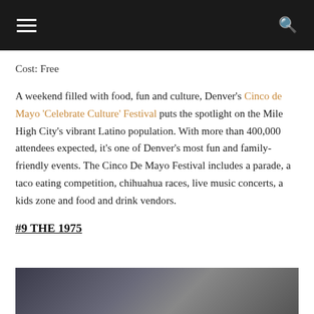Navigation header with hamburger menu and search icon
Cost: Free
A weekend filled with food, fun and culture, Denver's Cinco de Mayo 'Celebrate Culture' Festival puts the spotlight on the Mile High City's vibrant Latino population. With more than 400,000 attendees expected, it's one of Denver's most fun and family-friendly events. The Cinco De Mayo Festival includes a parade, a taco eating competition, chihuahua races, live music concerts, a kids zone and food and drink vendors.
#9 THE 1975
[Figure (photo): Photo of a performer, partially visible at the bottom of the page]